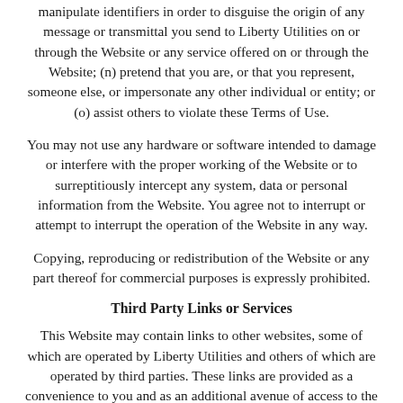manipulate identifiers in order to disguise the origin of any message or transmittal you send to Liberty Utilities on or through the Website or any service offered on or through the Website; (n) pretend that you are, or that you represent, someone else, or impersonate any other individual or entity; or (o) assist others to violate these Terms of Use.
You may not use any hardware or software intended to damage or interfere with the proper working of the Website or to surreptitiously intercept any system, data or personal information from the Website. You agree not to interrupt or attempt to interrupt the operation of the Website in any way.
Copying, reproducing or redistribution of the Website or any part thereof for commercial purposes is expressly prohibited.
Third Party Links or Services
This Website may contain links to other websites, some of which are operated by Liberty Utilities and others of which are operated by third parties. These links are provided as a convenience to you and as an additional avenue of access to the information contained therein. We have not necessarily